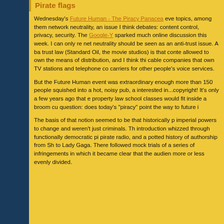Pirate flags
Wednesday's Future Human - The Piracy Panacea eve topics, among them network neutrality, an issue I think debates: content control, privacy, security. The Google-Y sparked much online discussion this week. I can only re net neutrality should be seen as an anti-trust issue. A ba trust law (Standard Oil, the movie studios) is that conte allowed to own the means of distribution, and I think thi cable companies that own TV stations and telephone co carriers for other people's voice services.
But the Future Human event was extraordinary enough more than 150 people squished into a hot, noisy pub, a interested in...copyright! It's only a few years ago that e property law school classes would fit inside a broom cu question: does today's "piracy" point the way to future i
The basis of that notion seemed to be that historically p imperial powers to change and weren't just criminals. Th introduction whizzed through functionally democratic pi pirate radio, and a potted history of authorship from Sh to Lady Gaga. There followed mock trials of a series of infringements in which it became clear that the audien more or less evenly divided.